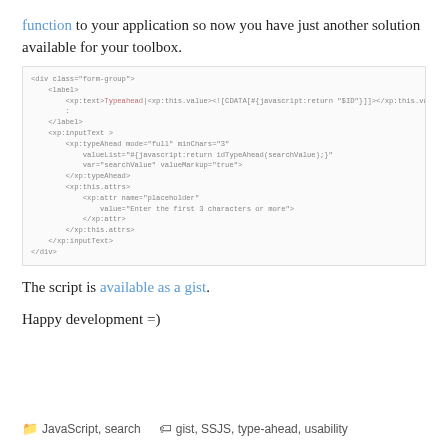function to your application so now you have just another solution available for your toolbox.
[Figure (screenshot): Code block showing XML/XPages markup with div form-group, label, xp:inputText, xp:typeAhead with mode=full minChars=3, valueList, var=searchValue, valueMarkup=true, xp:this.attrs with placeholder attribute set to 'Enter the first 3 characters or more']
The script is available as a gist.
Happy development =)
JavaScript, search   gist, SSJS, type-ahead, usability